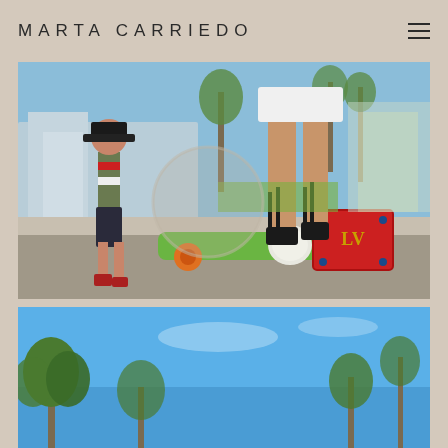MARTA CARRIEDO
[Figure (photo): Outdoor skate park scene at Venice Beach. On the right, a woman's tanned legs wearing black lace-up sandals stands on a concrete ledge next to a green longboard skateboard with orange wheels and a red Louis Vuitton Twist handbag with floral details. On the left, a young man in a snapback cap, camo-style shirt, and dark shorts is skating in the background. Palm trees and beach buildings visible in the blurred background under a blue sky.]
[Figure (photo): Partial bottom photo showing blue sky and tops of palm trees, likely a continuation of the Venice Beach outdoor fashion shoot.]